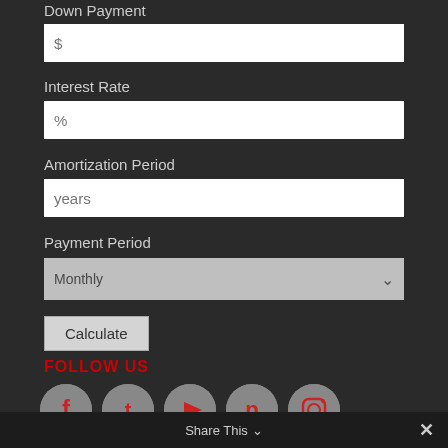Down Payment
$
Interest Rate
%
Amortization Period
years
Payment Period
Monthly
Calculate
FOLLOW US
[Figure (infographic): Social media icons: Facebook, Twitter, YouTube, Pinterest, Instagram]
Share This ×